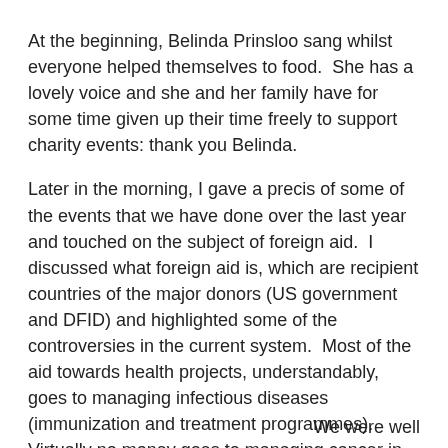At the beginning, Belinda Prinsloo sang whilst everyone helped themselves to food.  She has a lovely voice and she and her family have for some time given up their time freely to support charity events: thank you Belinda.
Later in the morning, I gave a precis of some of the events that we have done over the last year and touched on the subject of foreign aid.  I discussed what foreign aid is, which are recipient countries of the major donors (US government and DFID) and highlighted some of the controversies in the current system.  Most of the aid towards health projects, understandably, goes to managing infectious diseases (immunization and treatment programmes).  Virtually no money goes to managing cancer in low income countries.  The WHO predicts that all cancers will increase substantially in the next 30 years and the majority of the increase will be seen in low income countries.  We need to start lobbying the major funders to look at the management of cancer as a priority.
We were well